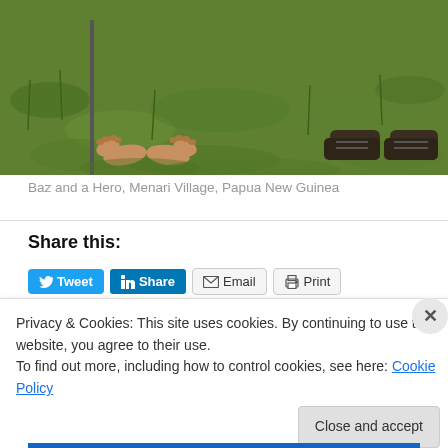[Figure (photo): Bottom portion of a photo showing bare feet and booted feet standing on green grass, with a stick/pole visible on the left side.]
Baz and a Hero, Menari Village, Papua New Guinea
Share this:
[Figure (screenshot): Social sharing buttons: Tweet (blue), Share on LinkedIn (blue), Email (outline), Print (outline)]
Privacy & Cookies: This site uses cookies. By continuing to use this website, you agree to their use.
To find out more, including how to control cookies, see here: Cookie Policy